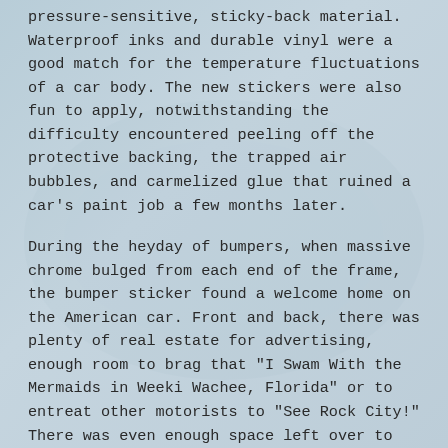pressure-sensitive, sticky-back material. Waterproof inks and durable vinyl were a good match for the temperature fluctuations of a car body. The new stickers were also fun to apply, notwithstanding the difficulty encountered peeling off the protective backing, the trapped air bubbles, and carmelized glue that ruined a car's paint job a few months later.
During the heyday of bumpers, when massive chrome bulged from each end of the frame, the bumper sticker found a welcome home on the American car. Front and back, there was plenty of real estate for advertising, enough room to brag that "I Swam With the Mermaids in Weeki Wachee, Florida" or to entreat other motorists to "See Rock City!" There was even enough space left over to